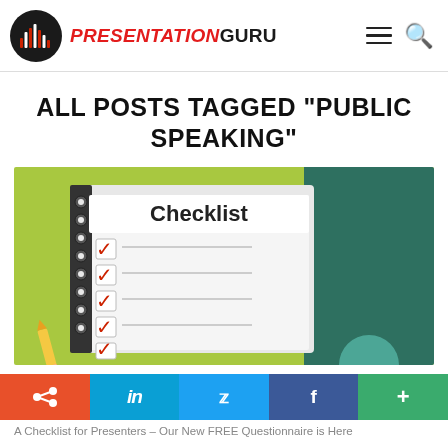PRESENTATION GURU
ALL POSTS TAGGED "PUBLIC SPEAKING"
[Figure (illustration): A checklist notebook illustration on a green and teal background, showing a spiral-bound notepad with 'Checklist' header and five red checkmark boxes checked off, with lines beside each checkbox.]
[Figure (infographic): Social sharing bar with five buttons: Stumbleupon (orange), LinkedIn (light blue), Twitter (blue), Facebook (dark blue), and a green plus/more button.]
A Checklist for Presenters – Our New FREE Questionnaire is Here